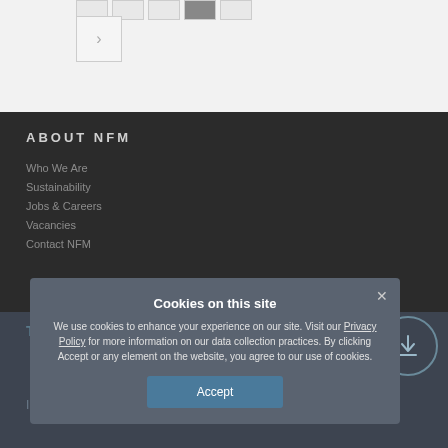[Figure (screenshot): Pagination buttons row with 5 page buttons and one highlighted/active dark button]
[Figure (screenshot): Next arrow button (chevron right) in a bordered square]
ABOUT NFM
Who We Are
Sustainability
Jobs & Careers
Vacancies
Contact NFM
TECHNOLOGY
Introduction
[Figure (screenshot): Circular arrow/upload icon on dark background]
Cookies on this site
We use cookies to enhance your experience on our site. Visit our Privacy Policy for more information on our data collection practices. By clicking Accept or any element on the website, you agree to our use of cookies.
Accept